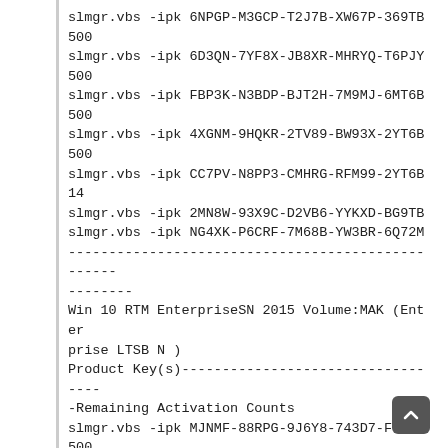slmgr.vbs -ipk 6NPGP-M3GCP-T2J7B-XW67P-369TB
500
slmgr.vbs -ipk 6D3QN-7YF8X-JB8XR-MHRYQ-T6PJY
500
slmgr.vbs -ipk FBP3K-N3BDP-BJT2H-7M9MJ-6MT6B
500
slmgr.vbs -ipk 4XGNM-9HQKR-2TV89-BW93X-2YT6B
500
slmgr.vbs -ipk CC7PV-N8PP3-CMHRG-RFM99-2YT6B
14
slmgr.vbs -ipk 2MN8W-93X9C-D2VB6-YYKXD-BG9TB
slmgr.vbs -ipk NG4XK-P6CRF-7M68B-YW3BR-6Q72M
--------------------------------------------------
--------
Win 10 RTM EnterpriseSN 2015 Volume:MAK (Enterprise LTSB N )
Product Key(s)----------------------------------
-Remaining Activation Counts
slmgr.vbs -ipk MJNMF-88RPG-9J6Y8-743D7-FJRCX
500
slmgr.vbs -ipk CPP88-9HNHP-872D4-W2KTW-29XTK
500
slmgr.vbs -ipk VG88K-9MN4B-844MR-8TKT7-MBH2X